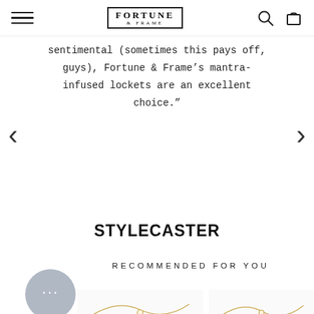Fortune & Frame — navigation header with hamburger menu, logo, search and cart icons
sentimental (sometimes this pays off, guys), Fortune & Frame’s mantra-infused lockets are an excellent choice.”
[Figure (logo): STYLECASTER logo in bold black sans-serif text]
RECOMMENDED FOR YOU
[Figure (illustration): Chat bubble icon with ellipsis on grey circular background]
[Figure (photo): Product image of a gold necklace on white background]
[Figure (photo): Product image of a gold necklace on white background (second item)]